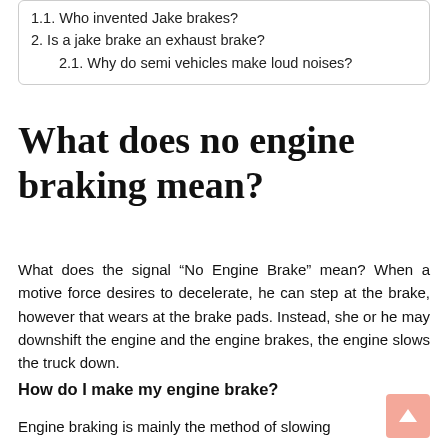1.1. Who invented Jake brakes?
2. Is a jake brake an exhaust brake?
2.1. Why do semi vehicles make loud noises?
What does no engine braking mean?
What does the signal “No Engine Brake” mean? When a motive force desires to decelerate, he can step at the brake, however that wears at the brake pads. Instead, she or he may downshift the engine and the engine brakes, the engine slows the truck down.
How do I make my engine brake?
Engine braking is mainly the method of slowing